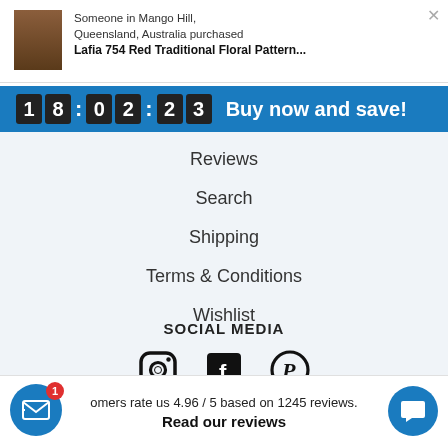Someone in Mango Hill, Queensland, Australia purchased Lafia 754 Red Traditional Floral Pattern...
18:02:23 Buy now and save!
Reviews
Search
Shipping
Terms & Conditions
Wishlist
SOCIAL MEDIA
[Figure (illustration): Social media icons: Instagram camera icon, Facebook F icon, Pinterest P icon]
omers rate us 4.96 / 5 based on 1245 reviews.
Read our reviews